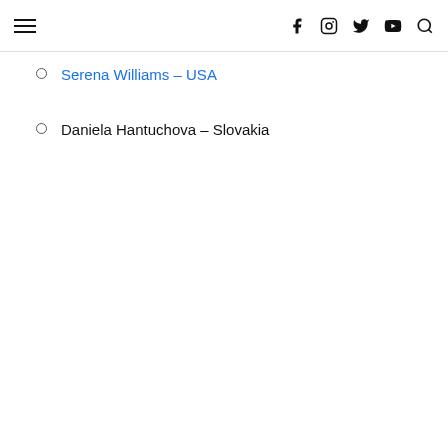Navigation header with hamburger menu and social icons (f, instagram, twitter, youtube, search)
Serena Williams – USA
Daniela Hantuchova – Slovakia